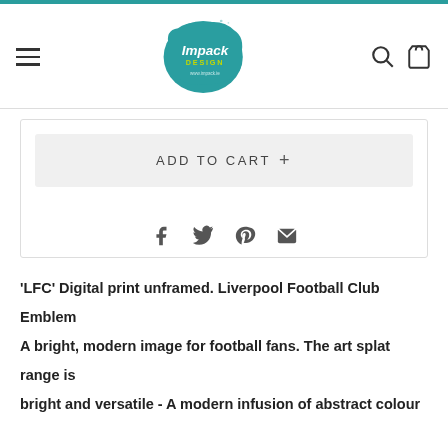[Figure (logo): Impack Design logo — teal ink splat with 'Impack DESIGN' text and www.impack.ie]
ADD TO CART +
[Figure (infographic): Social share icons: Facebook, Twitter, Pinterest, Email]
'LFC' Digital print unframed. Liverpool Football Club Emblem A bright, modern image for football fans. The art splat range is bright and versatile - A modern infusion of abstract colour